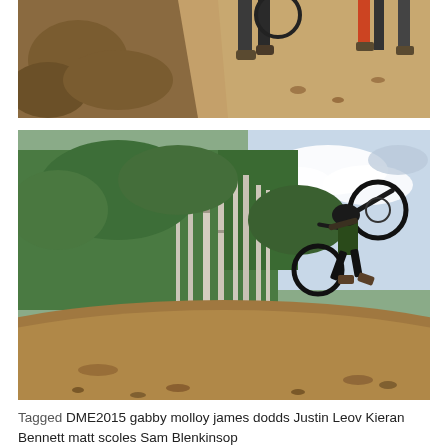[Figure (photo): Top cropped photo showing mountain bikers on a dirt trail with rocky/sandy path, legs and bikes visible from waist down, dry brushy hillside to the left.]
[Figure (photo): Main large photo of a mountain biker performing a whip/jump trick in the air above a dirt mound, with tall thin white trees and green shrubs in the background, blue sky with clouds.]
Tagged  DME2015  gabby molloy  james dodds  Justin Leov  Kieran Bennett  matt scoles  Sam Blenkinsop